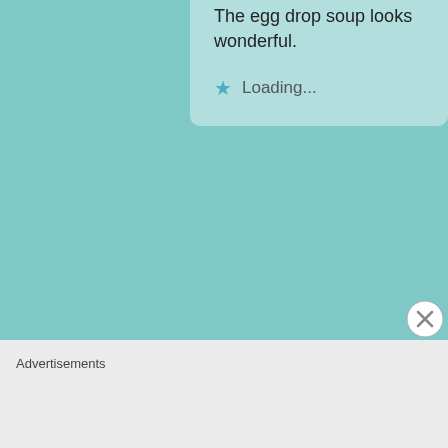The egg drop soup looks wonderful.
Loading...
Jovina Coughlin
July 11, 2014 at 1:34 pm
It is classic Italian. I grew up on it. Thanks R
Loading...
Advertisements